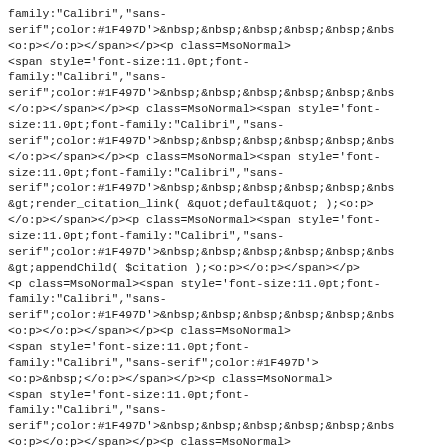family:"Calibri","sans-serif";color:#1F497D'>&nbsp;&nbsp;&nbsp;&nbsp;&nbsp;&nbsp;&nbs
<o:p></o:p></span></p><p class=MsoNormal>
<span style='font-size:11.0pt;font-family:"Calibri","sans-serif";color:#1F497D'>&nbsp;&nbsp;&nbsp;&nbsp;&nbsp;&nbsp;&nbs
</o:p></span></p><p class=MsoNormal><span style='font-size:11.0pt;font-family:"Calibri","sans-serif";color:#1F497D'>&nbsp;&nbsp;&nbsp;&nbsp;&nbsp;&nbsp;&nbs
</o:p></span></p><p class=MsoNormal><span style='font-size:11.0pt;font-family:"Calibri","sans-serif";color:#1F497D'>&nbsp;&nbsp;&nbsp;&nbsp;&nbsp;&nbsp;&nbs
&gt;render_citation_link( &quot;default&quot; );<o:p>
</o:p></span></p><p class=MsoNormal><span style='font-size:11.0pt;font-family:"Calibri","sans-serif";color:#1F497D'>&nbsp;&nbsp;&nbsp;&nbsp;&nbsp;&nbsp;&nbs
&gt;appendChild( $citation );<o:p></o:p></span></p>
<p class=MsoNormal><span style='font-size:11.0pt;font-family:"Calibri","sans-serif";color:#1F497D'>&nbsp;&nbsp;&nbsp;&nbsp;&nbsp;&nbsp;&nbs
<o:p></o:p></span></p><p class=MsoNormal>
<span style='font-size:11.0pt;font-family:"Calibri","sans-serif";color:#1F497D'>
<o:p>&nbsp;</o:p></span></p><p class=MsoNormal>
<span style='font-size:11.0pt;font-family:"Calibri","sans-serif";color:#1F497D'>&nbsp;&nbsp;&nbsp;&nbsp;&nbsp;&nbsp;&nbs
<o:p></o:p></span></p><p class=MsoNormal>
<span style='font-size:11.0pt;font-family:"Calibri","sans-serif";color:#1F497D'>}<o:p>